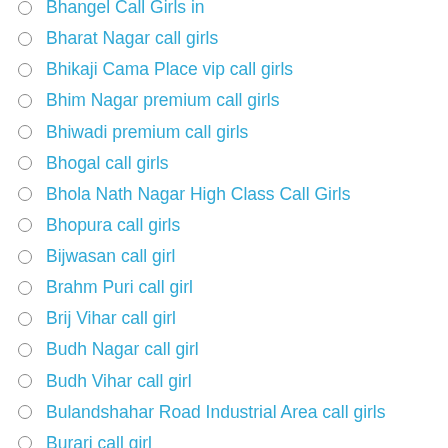Bhangel Call Girls in
Bharat Nagar call girls
Bhikaji Cama Place vip call girls
Bhim Nagar premium call girls
Bhiwadi premium call girls
Bhogal call girls
Bhola Nath Nagar High Class Call Girls
Bhopura call girls
Bijwasan call girl
Brahm Puri call girl
Brij Vihar call girl
Budh Nagar call girl
Budh Vihar call girl
Bulandshahar Road Industrial Area call girls
Burari call girl
Chakarpur Call Girls in
Chander Nagar call girls